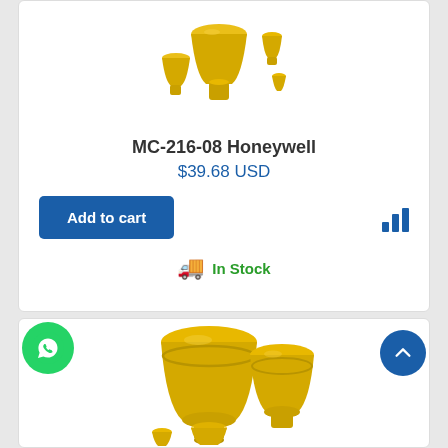[Figure (photo): MC-216-08 Honeywell product photo showing gold-colored tube/funnel fitting components on white background]
MC-216-08 Honeywell
$39.68 USD
Add to cart
In Stock
[Figure (photo): Second product showing gold-colored large funnel/mouthpiece components of various sizes on white background]